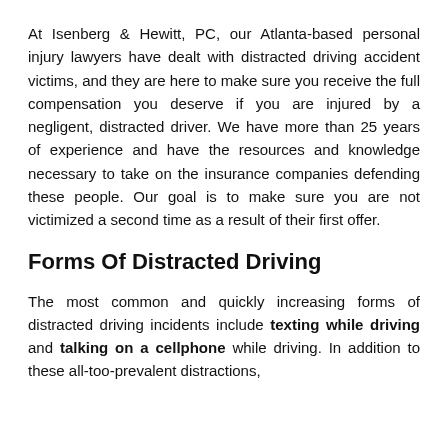At Isenberg & Hewitt, PC, our Atlanta-based personal injury lawyers have dealt with distracted driving accident victims, and they are here to make sure you receive the full compensation you deserve if you are injured by a negligent, distracted driver. We have more than 25 years of experience and have the resources and knowledge necessary to take on the insurance companies defending these people. Our goal is to make sure you are not victimized a second time as a result of their first offer.
Forms Of Distracted Driving
The most common and quickly increasing forms of distracted driving incidents include texting while driving and talking on a cellphone while driving. In addition to these all-too-prevalent distractions,